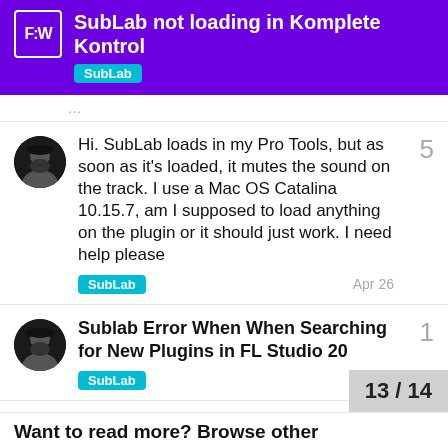SubLab not loading in Komplete Kontrol SubLab
Hi. SubLab loads in my Pro Tools, but as soon as it's loaded, it mutes the sound on the track. I use a Mac OS Catalina 10.15.7, am I supposed to load anything on the plugin or it should just work. I need help please
SubLab Apr 26 [replies: 5]
Sublab Error When When Searching for New Plugins in FL Studio 20
SubLab Mar 4 [replies: 1]
Sublab loads on protools m1pro but error
SubLab May 17 [replies: 1]
13 / 14
Want to read more? Browse other